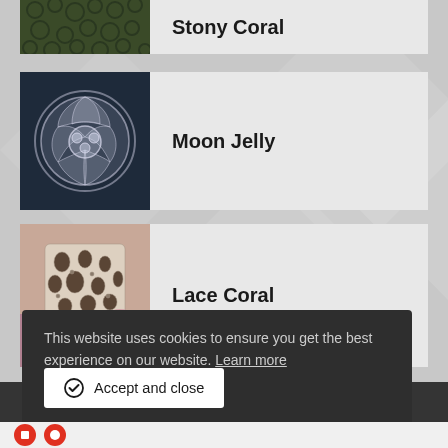[Figure (photo): Partially visible card showing a close-up photo of Stony Coral with a dark green textured surface, with the label 'Stony Coral' to the right]
[Figure (photo): Card showing a top-down photo of a Moon Jelly (jellyfish) with translucent white/grey appearance against a dark background, circular flower-like form]
Moon Jelly
[Figure (photo): Card showing a close-up photo of Lace Coral, with intricate white/beige branching pattern and holes, with pink/purple coral visible in the background]
Lace Coral
This website uses cookies to ensure you get the best experience on our website. Learn more
Accept and close